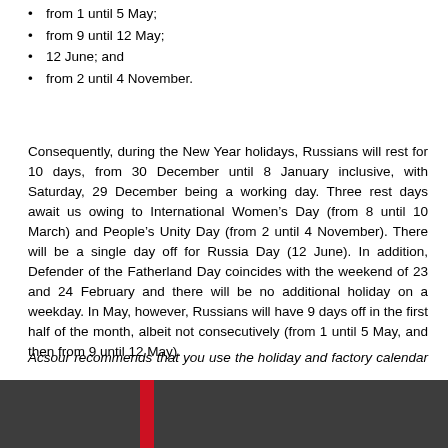from 1 until 5 May;
from 9 until 12 May;
12 June; and
from 2 until 4 November.
Consequently, during the New Year holidays, Russians will rest for 10 days, from 30 December until 8 January inclusive, with Saturday, 29 December being a working day. Three rest days await us owing to International Women’s Day (from 8 until 10 March) and People’s Unity Day (from 2 until 4 November). There will be a single day off for Russia Day (12 June). In addition, Defender of the Fatherland Day coincides with the weekend of 23 and 24 February and there will be no additional holiday on a weekday. In May, however, Russians will have 9 days off in the first half of the month, albeit not consecutively (from 1 until 5 May, and then from 9 until 12 May).
Acsour recommends that you use the holiday and factory calendar when planning your company’s business for next year.
[Figure (other): Dark grey and red footer bar at the bottom of the page]